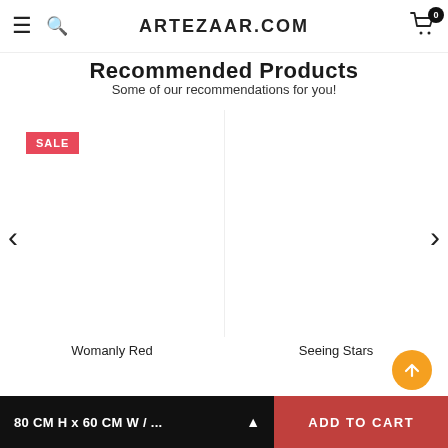ARTEZAAR.COM
Recommended Products
Some of our recommendations for you!
[Figure (other): SALE badge on product carousel — two product images side by side (Womanly Red, Seeing Stars) with left/right navigation arrows]
Womanly Red
Seeing Stars
80 CM H x 60 CM W / ...
ADD TO CART